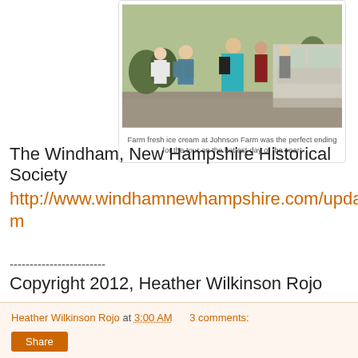[Figure (photo): People standing outside at Johnson Farm, some in line at a building window, outdoor evening scene]
Farm fresh ice cream at Johnson Farm was the perfect ending for the tour on the hottest day of the year!
The Windham, New Hampshire Historical Society
http://www.windhamnewhampshire.com/updated/museum.htm
------------------------
Copyright 2012, Heather Wilkinson Rojo
Heather Wilkinson Rojo at 3:00 AM    3 comments:
Share